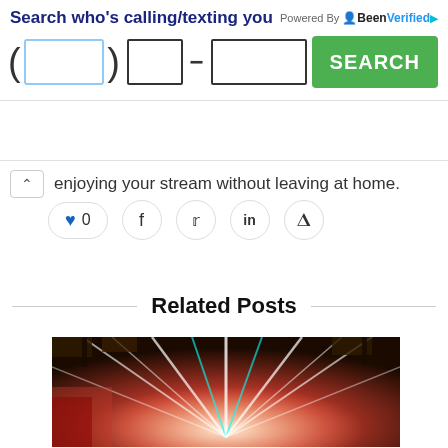[Figure (screenshot): BeenVerified phone number search ad banner with input fields and green SEARCH button]
enjoying your stream without leaving at home.
[Figure (screenshot): Social sharing buttons: heart/like with count 0, Facebook, Twitter, LinkedIn, Pinterest]
Related Posts
[Figure (photo): Concert stage with colorful light beams radiating from center]